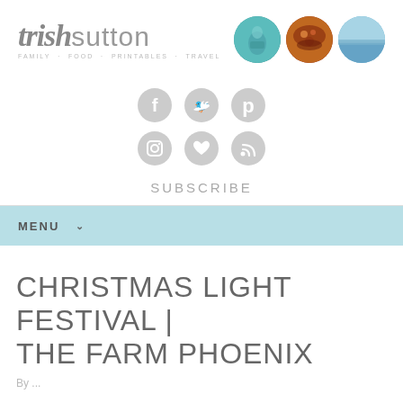[Figure (logo): Trish Sutton blog logo with text 'trishsutton' and tagline 'FAMILY · FOOD · PRINTABLES · TRAVEL', alongside three circular photo thumbnails]
[Figure (infographic): Six circular social media icons arranged in two rows: Facebook, Twitter, Pinterest, Instagram, Heart/Bloglovin, RSS]
SUBSCRIBE
MENU
CHRISTMAS LIGHT FESTIVAL | THE FARM PHOENIX